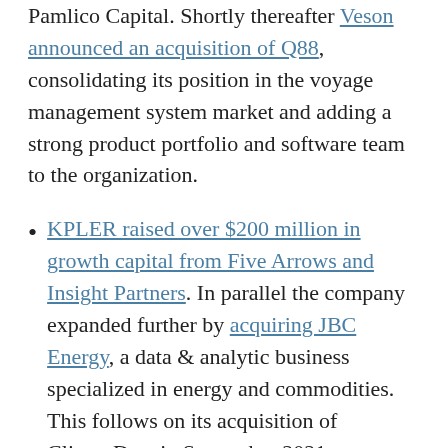Pamlico Capital. Shortly thereafter Veson announced an acquisition of Q88, consolidating its position in the voyage management system market and adding a strong product portfolio and software team to the organization.
KPLER raised over $200 million in growth capital from Five Arrows and Insight Partners. In parallel the company expanded further by acquiring JBC Energy, a data & analytic business specialized in energy and commodities. This follows on its acquisition of ClipperData in September 2021.